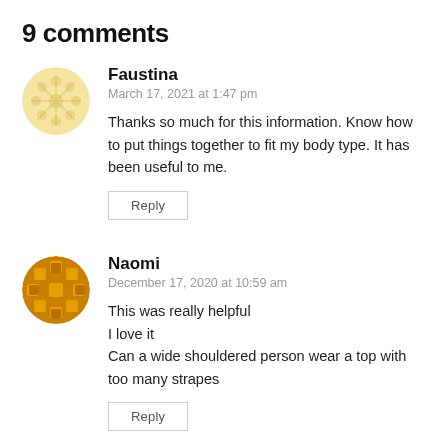9 comments
Faustina
March 17, 2021 at 1:47 pm
Thanks so much for this information. Know how to put things together to fit my body type. It has been useful to me.
Naomi
December 17, 2020 at 10:59 am
This was really helpful
I love it
Can a wide shouldered person wear a top with too many strapes